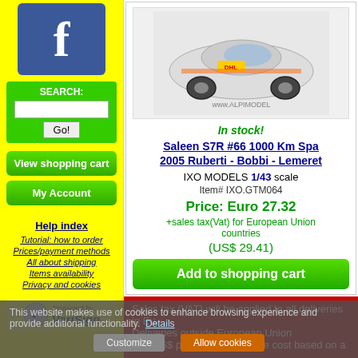[Figure (logo): Facebook logo - blue square with white 'f']
SEARCH:
Go!
View shopping cart
My Account
Help index
Tutorial: how to order
Prices/payment methods
All about shipping
Items availability
Privacy and cookies
[Figure (logo): VeriSign Protected by logo with shield and checkmark]
[Figure (photo): Photo of Saleen S7R #66 1000 Km Spa 2005 scale model car, white with DHL livery, www.ALPIMODEL watermark]
In stock!
Saleen S7R #66 1000 Km Spa 2005 Ruberti - Bobbi - Lemeret
IXO MODELS 1/43 scale
Item# IXO.GTM064
Price: Euro 27.32
+sales tax(Vat) for European Union countries
(US$ 29.41)
Add to shopping cart
Sales tax (VAT) will be applied to all deliveries in Eu
Deliveries outside European Union
The US$ price is an indicative cost based on a
This website makes use of cookies to enhance browsing experience and provide additional functionality. Details
Customize
Allow cookies